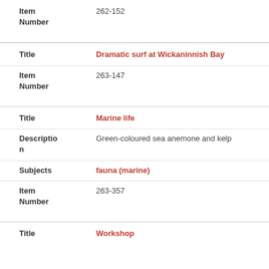| Item Number | 262-152 |
| Title | Dramatic surf at Wickaninnish Bay |
| Item Number | 263-147 |
| Title | Marine life |
| Description | Green-coloured sea anemone and kelp |
| Subjects | fauna (marine) |
| Item Number | 263-357 |
| Title | Workshop |